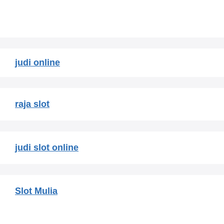judi online
raja slot
judi slot online
Slot Mulia